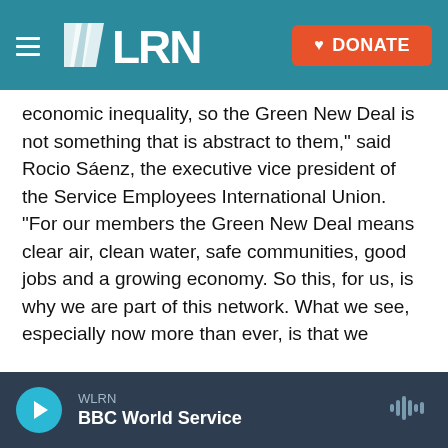[Figure (screenshot): WLRN radio website header with teal navigation bar, WLRN logo in white, hamburger menu icon, and orange DONATE button with heart icon]
economic inequality, so the Green New Deal is not something that is abstract to them," said Rocio Sáenz, the executive vice president of the Service Employees International Union. "For our members the Green New Deal means clear air, clean water, safe communities, good jobs and a growing economy. So this, for us, is why we are part of this network. What we see, especially now more than ever, is that we cannot think about these issues in siloes."
Named for the sweeping proposal for cutting U.S. contributions to climate change over the next
WLRN | BBC World Service